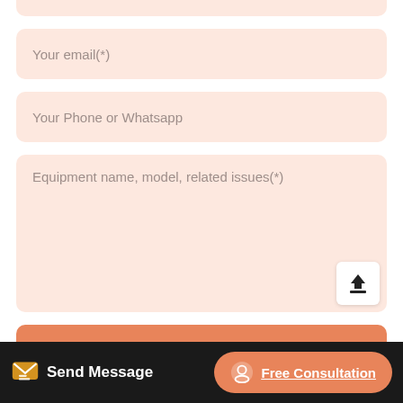Your email(*)
Your Phone or Whatsapp
Equipment name, model, related issues(*)
Send Now!
Send Message
Free Consultation